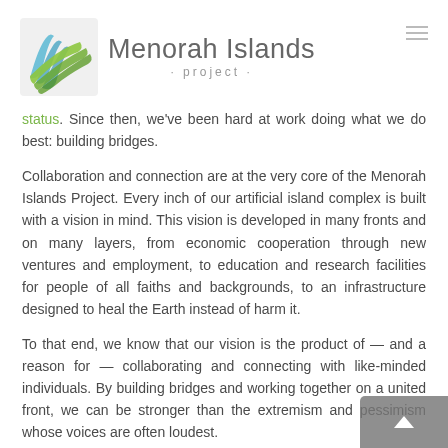[Figure (logo): Menorah Islands Project logo with stylized blue and green wave/leaf graphic on the left, and text 'Menorah Islands' in large grey font with '· project ·' below in smaller grey font]
status. Since then, we've been hard at work doing what we do best: building bridges.
Collaboration and connection are at the very core of the Menorah Islands Project. Every inch of our artificial island complex is built with a vision in mind. This vision is developed in many fronts and on many layers, from economic cooperation through new ventures and employment, to education and research facilities for people of all faiths and backgrounds, to an infrastructure designed to heal the Earth instead of harm it.
To that end, we know that our vision is the product of — and a reason for — collaborating and connecting with like-minded individuals. By building bridges and working together on a united front, we can be stronger than the extremism and pessimism whose voices are often loudest.